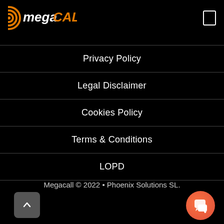[Figure (logo): Megacall logo: orange concentric-circle icon with 'mega' in white bold italic and 'CALL' in orange bold text]
Privacy Policy
Legal Disclaimer
Cookies Policy
Terms & Conditions
LOPD
Megacall © 2022 • Phoenix Solutions SL.